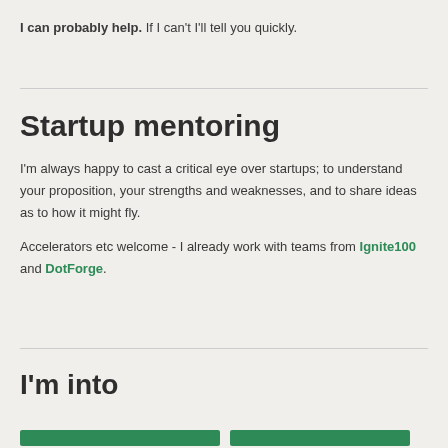I can probably help. If I can't I'll tell you quickly.
Startup mentoring
I'm always happy to cast a critical eye over startups; to understand your proposition, your strengths and weaknesses, and to share ideas as to how it might fly.
Accelerators etc welcome - I already work with teams from Ignite100 and DotForge.
I'm into